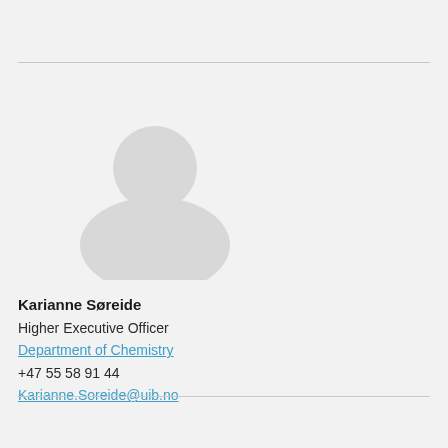[Figure (illustration): Generic placeholder avatar silhouette (person icon) in light gray on a light gray background]
Karianne Søreide
Higher Executive Officer
Department of Chemistry
+47 55 58 91 44
Karianne.Soreide@uib.no